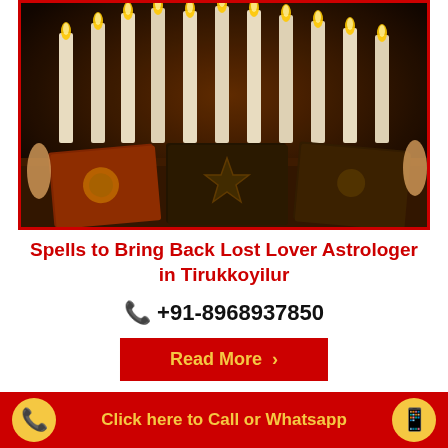[Figure (photo): Dark atmospheric photo of three antique spell books with occult symbols on covers, surrounded by many lit white candles in the background on a wooden table.]
Spells to Bring Back Lost Lover Astrologer in Tirukkoyilur
📞 +91-8968937850
Read More ›
[Figure (photo): Partially visible photo with warm autumn tones showing blurred background with what appears to be a person.]
Click here to Call or Whatsapp